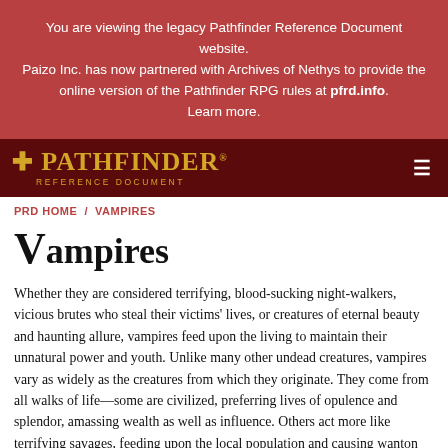You are viewing the legacy Pathfinder Reference Document website. Paizo Inc. has now partnered with Archives of Nethys to provide the online version of the Pathfinder RPG rules at pfrd.info. Learn more.
Pathfinder Reference Document
PRD HOME / VAMPIRES
Vampires
Whether they are considered terrifying, blood-sucking night-walkers, vicious brutes who steal their victims' lives, or creatures of eternal beauty and haunting allure, vampires feed upon the living to maintain their unnatural power and youth. Unlike many other undead creatures, vampires vary as widely as the creatures from which they originate. They come from all walks of life—some are civilized, preferring lives of opulence and splendor, amassing wealth as well as influence. Others act more like terrifying savages, feeding upon the local population and causing wanton destruction throughout the area. Vampires can be found anywhere intelligent, living creatures reside